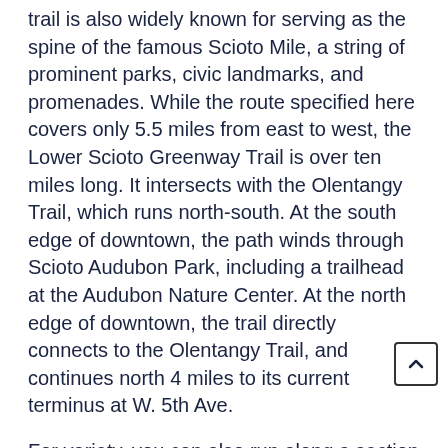trail is also widely known for serving as the spine of the famous Scioto Mile, a string of prominent parks, civic landmarks, and promenades. While the route specified here covers only 5.5 miles from east to west, the Lower Scioto Greenway Trail is over ten miles long. It intersects with the Olentangy Trail, which runs north-south. At the south edge of downtown, the path winds through Scioto Audubon Park, including a trailhead at the Audubon Nature Center. At the north edge of downtown, the trail directly connects to the Olentangy Trail, and continues north 4 miles to its current terminus at W. 5th Ave.
For variety, you can also run along a section of the trail on the western side of the river, which goes 1.8 miles from Dodge Park to N. Souder Ave.
Note that the trail tends to be plowed, especially between North Bank Park and the Rich Street Bridge, on both sides of the Scioto River.